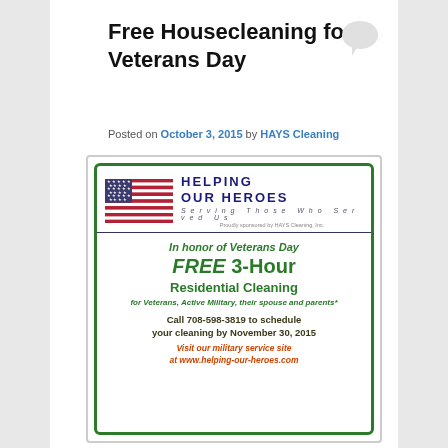Free Housecleaning for Veterans Day
Posted on October 3, 2015 by HAYS Cleaning
[Figure (infographic): Helping Our Heroes flyer with US flag logo, 'Serving Those Who Served Us' tagline. Offers FREE 3-Hour Residential Cleaning for Veterans, Active Military, their spouse and parents. Call 708-598-3819 to schedule your cleaning by November 30, 2015. Visit our military service site at www.helping-our-heroes.com. Proudly sponsored by HAYS Cleaning, Inc.]